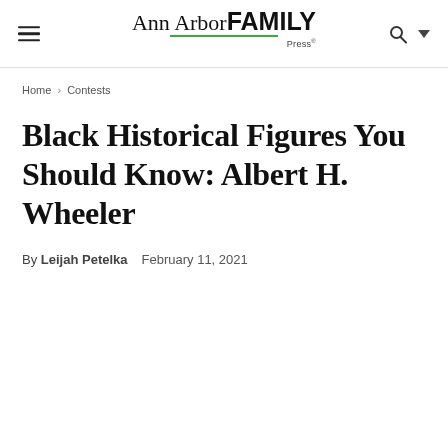Ann Arbor FAMILY Press
Home › Contests
Black Historical Figures You Should Know: Albert H. Wheeler
By Leijah Petelka  February 11, 2021